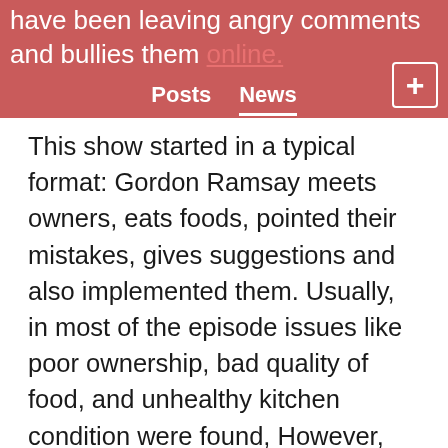have been leaving angry comments and bullies them online.   Posts   News   +
This show started in a typical format: Gordon Ramsay meets owners, eats foods, pointed their mistakes, gives suggestions and also implemented them. Usually, in most of the episode issues like poor ownership, bad quality of food, and unhealthy kitchen condition were found, However, things in Amy’s kitchen were pretty good including the quality of food and the condition of the kitchen but the only difference was owner’s behaviour toward its customers. After the arrival of hosts, dinner service turned out to be a disaster, involving firing, threat and screaming. Ramsay got so upset and annoyed that he left the show halfway saying